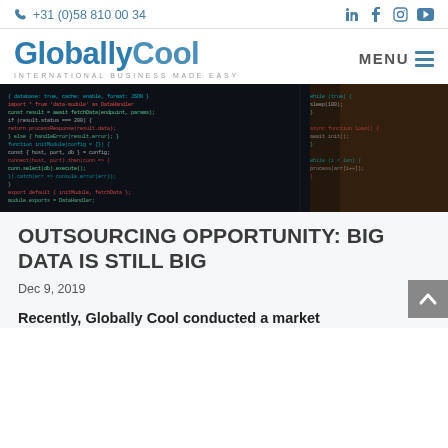📞 +31 (0)58 810 00 34  in  f  🎵  ▶
[Figure (logo): GloballyCool logo with tagline INTERNATIONAL BUSINESS MADE EASY and MENU hamburger button]
[Figure (photo): Dark hero image showing computer code on a screen]
OUTSOURCING OPPORTUNITY: BIG DATA IS STILL BIG
Dec 9, 2019
Recently, Globally Cool conducted a market